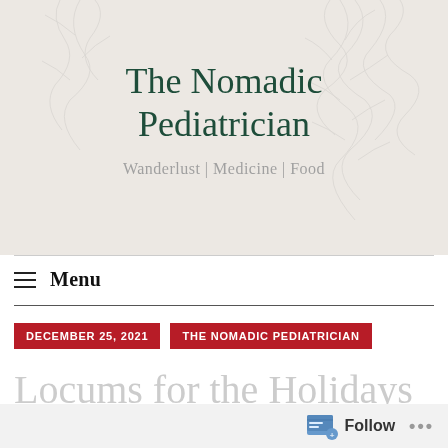[Figure (illustration): Website header banner with light gray/beige textured background showing faint tree branch silhouettes. Contains the blog title 'The Nomadic Pediatrician' in dark green serif font and tagline 'Wanderlust | Medicine | Food' in gray.]
The Nomadic Pediatrician
Wanderlust | Medicine | Food
≡ Menu
DECEMBER 25, 2021
THE NOMADIC PEDIATRICIAN
Locums for the Holidays